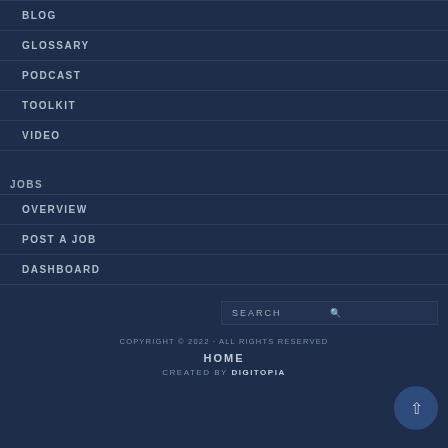BLOG
GLOSSARY
PODCAST
TOOLKIT
VIDEO
JOBS
OVERVIEW
POST A JOB
DASHBOARD
SEARCH
COPYRIGHT © 2022 · ALL RIGHTS RESERVED
HOME
CREATED BY DIGITOPIA